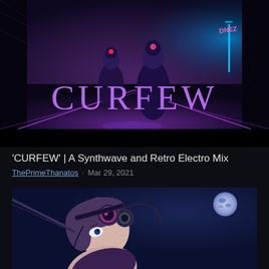[Figure (photo): Cyberpunk scene with two figures in reflective suits standing in a neon-lit corridor, large purple text 'CURFEW' overlaid on the image, dark futuristic atmosphere with blue and pink neon lights, black bar at bottom]
'CURFEW' | A Synthwave and Retro Electro Mix
ThePrimeThanatosR · Mar 29, 2021
[Figure (illustration): Anime-style illustration of a female character with cyberpunk headgear and goggles, tilted sideways, with a night sky and full moon (Earth visible) in the background, purple and blue tones]